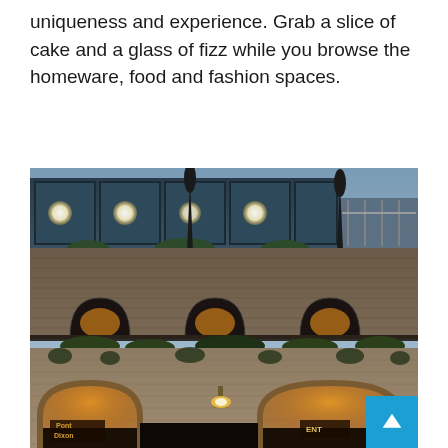uniqueness and experience. Grab a slice of cake and a glass of fizz while you browse the homeware, food and fashion spaces.
[Figure (photo): Exterior photograph of a multi-level brick building with arched openings at ground level illuminated with warm lights, green ivy growing on the walls, a modern glass-fronted upper level with globe pendant lights, and closed parasols visible. Signs reading 'Pont Dixon' and 'ENT' are visible at the arched entrances. A blue scroll-to-top button overlays the bottom-right corner.]